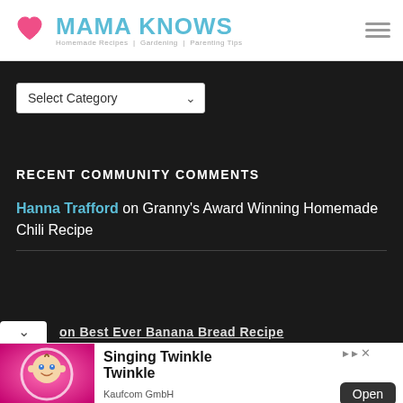[Figure (logo): Mama Knows website logo with pink heart icon and teal text, tagline reads Homemade Recipes | Gardening | Parenting Tips]
[Figure (infographic): Dropdown select box labeled Select Category with chevron arrow]
RECENT COMMUNITY COMMENTS
Hanna Trafford on Granny's Award Winning Homemade Chili Recipe
on Best Ever Banana Bread Recipe (partial, cut off)
[Figure (photo): Advertisement banner: animated baby character on pink background, title Singing Twinkle Twinkle, publisher Kaufcom GmbH, Open button]